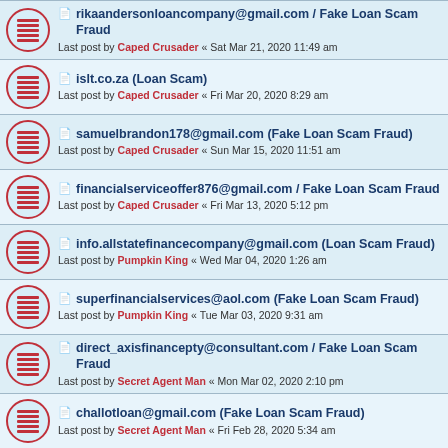rikaandersonloancompany@gmail.com / Fake Loan Scam Fraud
Last post by Caped Crusader « Sat Mar 21, 2020 11:49 am
islt.co.za (Loan Scam)
Last post by Caped Crusader « Fri Mar 20, 2020 8:29 am
samuelbrandon178@gmail.com (Fake Loan Scam Fraud)
Last post by Caped Crusader « Sun Mar 15, 2020 11:51 am
financialserviceoffer876@gmail.com / Fake Loan Scam Fraud
Last post by Caped Crusader « Fri Mar 13, 2020 5:12 pm
info.allstatefinancecompany@gmail.com (Loan Scam Fraud)
Last post by Pumpkin King « Wed Mar 04, 2020 1:26 am
superfinancialservices@aol.com (Fake Loan Scam Fraud)
Last post by Pumpkin King « Tue Mar 03, 2020 9:31 am
direct_axisfinancepty@consultant.com / Fake Loan Scam Fraud
Last post by Secret Agent Man « Mon Mar 02, 2020 2:10 pm
challotloan@gmail.com (Fake Loan Scam Fraud)
Last post by Secret Agent Man « Fri Feb 28, 2020 5:34 am
superfinancialservices@aol.com / Fake Loan Scam Fraud
Last post by Secret Agent Man « Thu Feb 27, 2020 10:34 pm